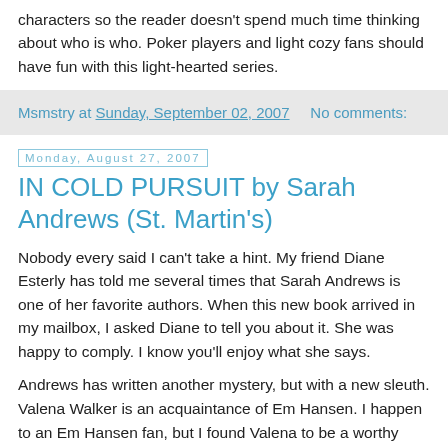characters so the reader doesn't spend much time thinking about who is who. Poker players and light cozy fans should have fun with this light-hearted series.
Msmstry at Sunday, September 02, 2007    No comments:
Monday, August 27, 2007
IN COLD PURSUIT by Sarah Andrews (St. Martin's)
Nobody every said I can't take a hint. My friend Diane Esterly has told me several times that Sarah Andrews is one of her favorite authors. When this new book arrived in my mailbox, I asked Diane to tell you about it. She was happy to comply. I know you'll enjoy what she says.
Andrews has written another mystery, but with a new sleuth. Valena Walker is an acquaintance of Em Hansen. I happen to an Em Hansen fan, but I found Valena to be a worthy successor. The setting of this mystery is Antarctica. My